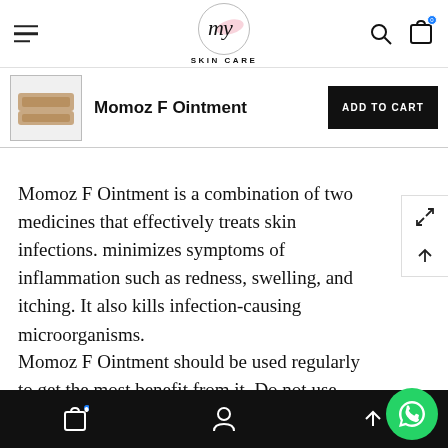My Skin Care
[Figure (logo): My Skin Care logo with cursive 'my' in a circle and 'SKIN CARE' text below]
Momoz F Ointment
Momoz F Ointment is a combination of two medicines that effectively treats skin infections. minimizes symptoms of inflammation such as redness, swelling, and itching. It also kills infection-causing microorganisms.
Momoz F Ointment should be used regularly to get the most benefit from it. Do not use more
Bottom navigation bar with cart, profile, and share icons